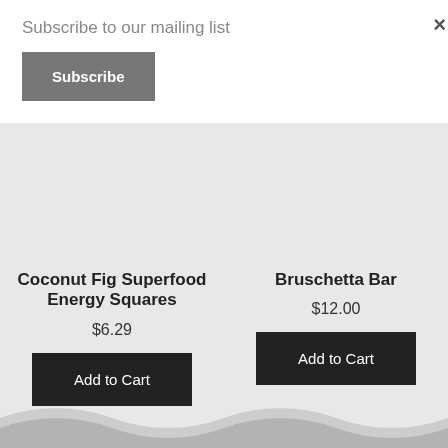Subscribe to our mailing list
Subscribe
×
Coconut Fig Superfood Energy Squares
$6.29
Add to Cart
Bruschetta Bar
$12.00
Add to Cart